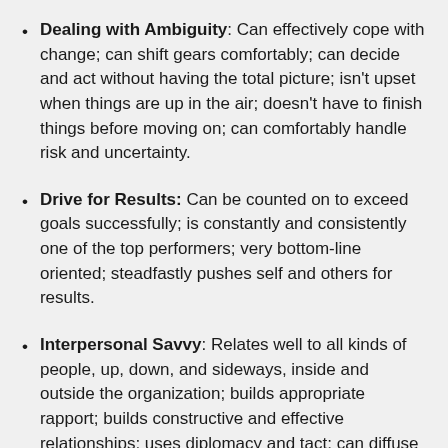Dealing with Ambiguity: Can effectively cope with change; can shift gears comfortably; can decide and act without having the total picture; isn't upset when things are up in the air; doesn't have to finish things before moving on; can comfortably handle risk and uncertainty.
Drive for Results: Can be counted on to exceed goals successfully; is constantly and consistently one of the top performers; very bottom-line oriented; steadfastly pushes self and others for results.
Interpersonal Savvy: Relates well to all kinds of people, up, down, and sideways, inside and outside the organization; builds appropriate rapport; builds constructive and effective relationships; uses diplomacy and tact; can diffuse even high-tension